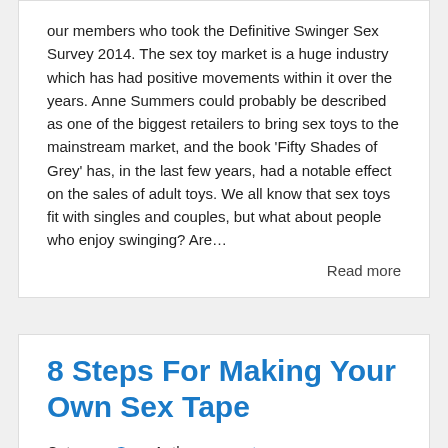our members who took the Definitive Swinger Sex Survey 2014. The sex toy market is a huge industry which has had positive movements within it over the years. Anne Summers could probably be described as one of the biggest retailers to bring sex toys to the mainstream market, and the book 'Fifty Shades of Grey' has, in the last few years, had a notable effect on the sales of adult toys. We all know that sex toys fit with singles and couples, but what about people who enjoy swinging? Are…
Read more
8 Steps For Making Your Own Sex Tape
Category: Sex , Author: support